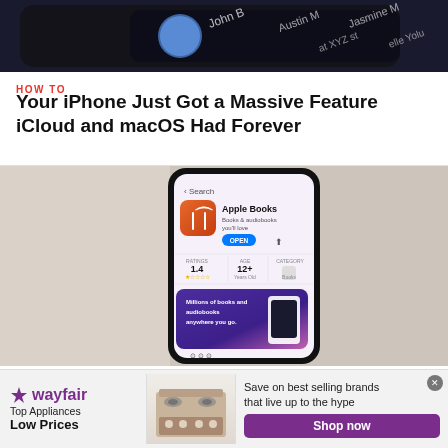[Figure (photo): Top cropped photo showing a dark smartphone or device with blurred text/contacts visible on screen, shot from above on a textured surface]
HOW TO
Your iPhone Just Got a Massive Feature iCloud and macOS Had Forever
[Figure (photo): Photo of a smartphone displaying the Apple Books app page in the App Store, showing the app icon, rating of 1.4, age rating 12+, category Books, and a promotional banner for Millions of books and audiobooks anywhere you go.]
HOW TO
20 Big New Features and Changes Coming to Apple Books on Yo...
[Figure (other): Wayfair advertisement banner: Top Appliances Low Prices, Save on best selling brands that live up to the hype, Shop now button, with image of a kitchen range/stove]